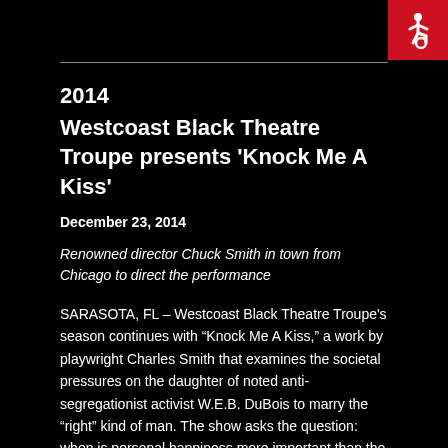[Figure (logo): Red square accessibility icon with white wheelchair symbol in top-right corner]
2014
Westcoast Black Theatre Troupe presents 'Knock Me A Kiss'
December 23, 2014
Renowned director Chuck Smith in town from Chicago to direct the performance
SARASOTA, FL – Westcoast Black Theatre Troupe's season continues with "Knock Me A Kiss," a work by playwright Charles Smith that examines the societal pressures on the daughter of noted anti-segregationist activist W.E.B. DuBois to marry the "right" kind of man. The show asks the question: when is personal happiness more important than the sacrifices, lies, and deferred dreams of a family trying to make the world a better place?